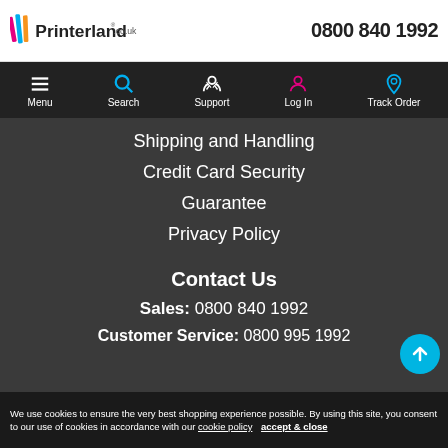Printerland.co.uk  0800 840 1992
Menu | Search | Support | Log In | Track Order
Shipping and Handling
Credit Card Security
Guarantee
Privacy Policy
Contact Us
Sales: 0800 840 1992
Customer Service: 0800 995 1992
We use cookies to ensure the very best shopping experience possible. By using this site, you consent to our use of cookies in accordance with our cookie policy  accept & close